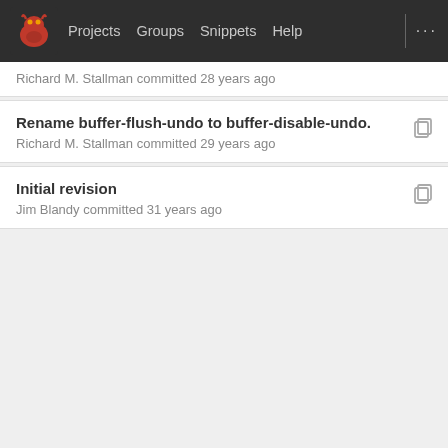Projects  Groups  Snippets  Help
Richard M. Stallman committed 28 years ago
Rename buffer-flush-undo to buffer-disable-undo.
Richard M. Stallman committed 29 years ago
Initial revision
Jim Blandy committed 31 years ago